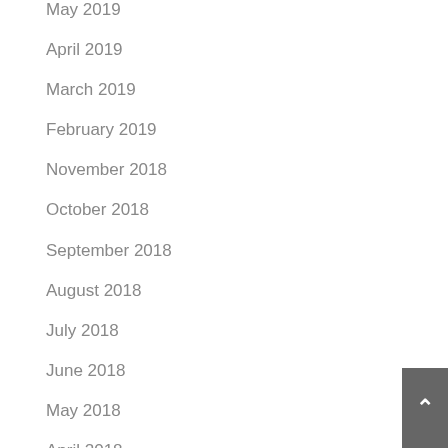May 2019
April 2019
March 2019
February 2019
November 2018
October 2018
September 2018
August 2018
July 2018
June 2018
May 2018
April 2018
March 2018